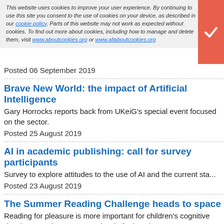This website uses cookies to improve your user experience. By continuing to use this site you consent to the use of cookies on your device, as described in our cookie policy. Parts of this website may not work as expected without cookies. To find out more about cookies, including how to manage and delete them, visit www.aboutcookies.org or www.allaboutcookies.org
Posted 06 September 2019
Brave New World: the impact of Artificial Intelligence
Gary Horrocks reports back from UKeiG's special event focused on the sector.
Posted 25 August 2019
AI in academic publishing: call for survey participants
Survey to explore attitudes to the use of AI and the current sta...
Posted 23 August 2019
The Summer Reading Challenge heads to space
Reading for pleasure is more important for children's cognitive development than a parent's level of education.
Posted 19 July 2019
Publisher Pearson to phase out print
Educational publisher wants to make its learning resources di...